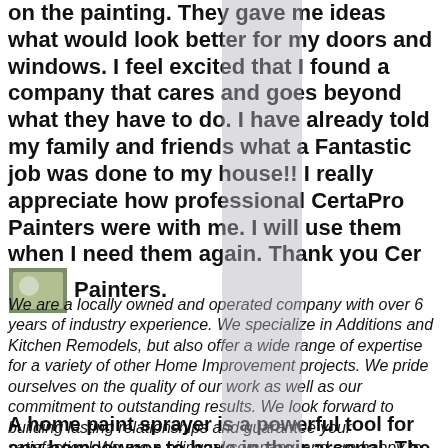on the painting. They gave me ideas what would look better for my doors and windows. I feel excited that I found a company that cares and goes beyond what they have to do. I have already told my family and friends what a Fantastic job was done to my house!! I really appreciate how professional CertaPro Painters were with me. I will use them when I need them again. Thank you CertaPro Painters.
[Figure (photo): Small embedded photo of a house or outdoor scene, partially obscured by gray overlay strip]
We are a locally owned and operated company with over 6 years of industry experience. We specialize in Additions and Kitchen Remodels, but also offer a wide range of expertise for a variety of other Home Improvement projects. We pride ourselves on the quality of our work as well as our commitment to outstanding results. We look forward to building lasting relationships and guarantee your satisfaction! We are a bilingual company, and are happy to serve both our English and Spanish Speaking communities!
A home paint sprayer is a powerful tool for any homeowner to have in their arsenal. The best home paint sprayer will enable the homeowner to paint interior